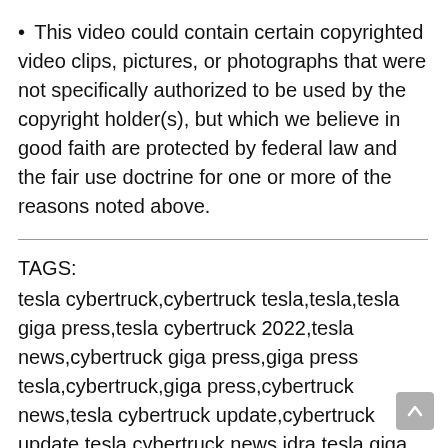• This video could contain certain copyrighted video clips, pictures, or photographs that were not specifically authorized to be used by the copyright holder(s), but which we believe in good faith are protected by federal law and the fair use doctrine for one or more of the reasons noted above.
TAGS:
tesla cybertruck,cybertruck tesla,tesla,tesla giga press,tesla cybertruck 2022,tesla news,cybertruck giga press,giga press tesla,cybertruck,giga press,cybertruck news,tesla cybertruck update,cybertruck update,tesla cybertruck news,idra tesla giga press,cybertruck gigapress,tesla gigapress,tesla cybertruck review,cybertruck reveal,tesla gigapress